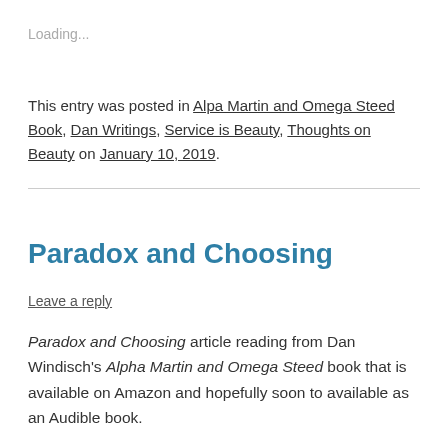Loading...
This entry was posted in Alpa Martin and Omega Steed Book, Dan Writings, Service is Beauty, Thoughts on Beauty on January 10, 2019.
Paradox and Choosing
Leave a reply
Paradox and Choosing article reading from Dan Windisch's Alpha Martin and Omega Steed book that is available on Amazon and hopefully soon to available as an Audible book.